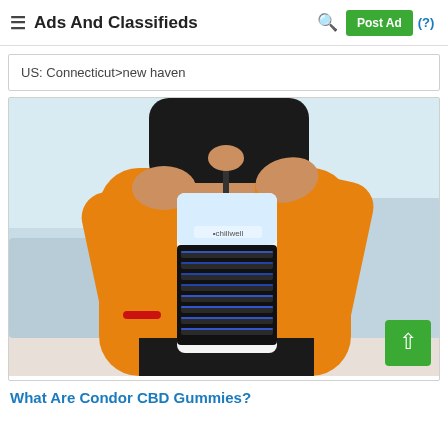Ads And Classifieds  Post Ad (?)
US: Connecticut>new haven
[Figure (photo): Person in orange shirt holding a small portable air cooler/fan device (labeled 'chillwell') with dark grille vents, shown from chest down. Background is an office or indoor setting.]
What Are Condor CBD Gummies?